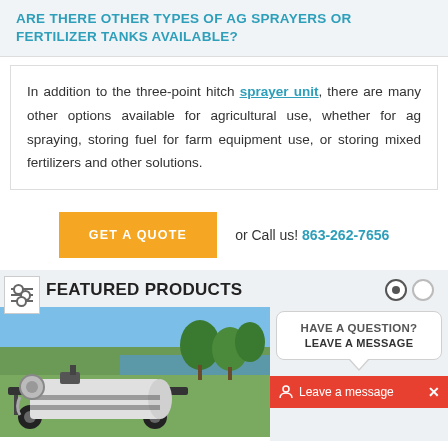ARE THERE OTHER TYPES OF AG SPRAYERS OR FERTILIZER TANKS AVAILABLE?
In addition to the three-point hitch sprayer unit, there are many other options available for agricultural use, whether for ag spraying, storing fuel for farm equipment use, or storing mixed fertilizers and other solutions.
GET A QUOTE  or Call us! 863-262-7656
FEATURED PRODUCTS
[Figure (photo): Agricultural sprayer tank on a trailer outdoors near water and trees]
[Figure (screenshot): Chat widget with 'HAVE A QUESTION? LEAVE A MESSAGE' bubble and a red 'Leave a message' bar with an X close button]